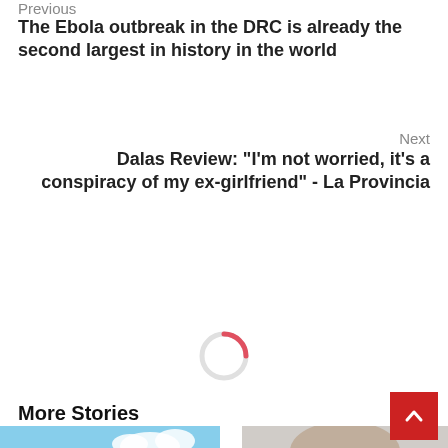Previous
The Ebola outbreak in the DRC is already the second largest in history in the world
Next
Dalas Review: "I'm not worried, it's a conspiracy of my ex-girlfriend" - La Provincia
[Figure (other): Loading spinner graphic - circular arc in red/pink on white background]
More Stories
[Figure (photo): Yellow Spanish military aircraft with marking REINO DE ESPANA 43028]
[Figure (photo): Person holding a dark Samsung smartphone]